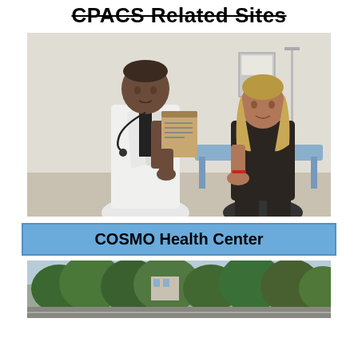CPACS Related Sites
[Figure (photo): A doctor in a white coat with a stethoscope holding a clipboard and speaking with a female patient who is seated on an exam table in a medical office.]
COSMO Health Center
[Figure (photo): Exterior view of a building partially obscured by trees, partially visible street scene.]